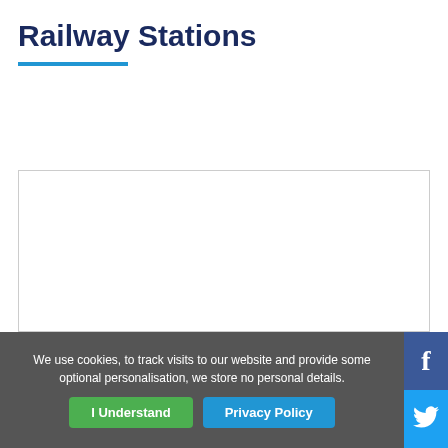Railway Stations
< BACK
[Figure (other): Empty white content box with light gray border]
We use cookies, to track visits to our website and provide some optional personalisation, we store no personal details.
I Understand
Privacy Policy